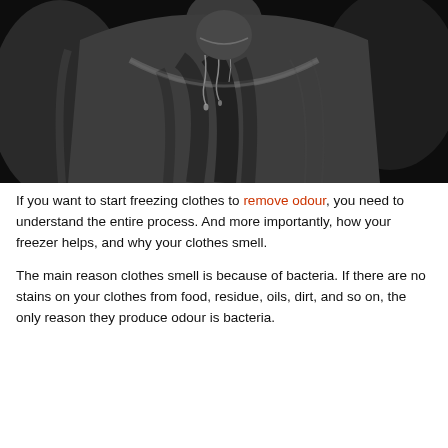[Figure (photo): Black and white photo of a person's torso wearing a wet tank top/undershirt, with sweat dripping down the chest and fabric.]
If you want to start freezing clothes to remove odour, you need to understand the entire process. And more importantly, how your freezer helps, and why your clothes smell.
The main reason clothes smell is because of bacteria. If there are no stains on your clothes from food, residue, oils, dirt, and so on, the only reason they produce odour is bacteria.